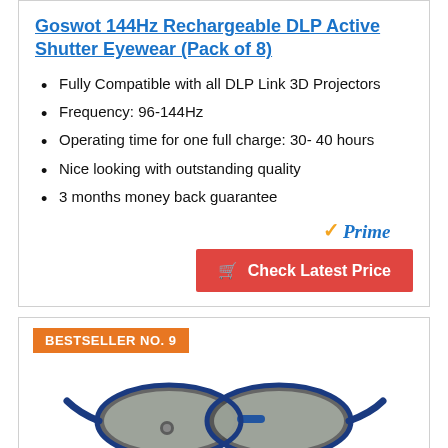Goswot 144Hz Rechargeable DLP Active Shutter Eyewear (Pack of 8)
Fully Compatible with all DLP Link 3D Projectors
Frequency: 96-144Hz
Operating time for one full charge: 30- 40 hours
Nice looking with outstanding quality
3 months money back guarantee
[Figure (logo): Amazon Prime logo with orange checkmark and blue italic Prime text]
[Figure (other): Red button with shopping cart icon and text: Check Latest Price]
BESTSELLER NO. 9
[Figure (photo): 3D active shutter glasses with blue and black frame]